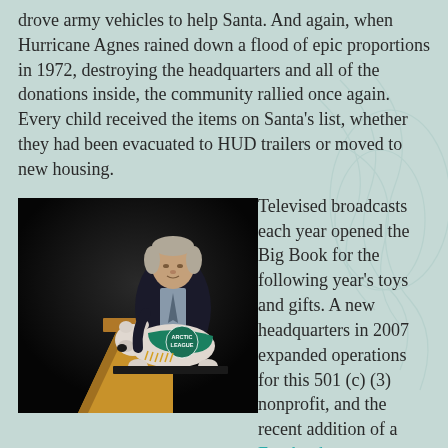drove army vehicles to help Santa. And again, when Hurricane Agnes rained down a flood of epic proportions in 1972, destroying the headquarters and all of the donations inside, the community rallied once again. Every child received the items on Santa's list, whether they had been evacuated to HUD trailers or moved to new housing.
[Figure (photo): A man in a dark suit stands at a wooden podium beside a white polar bear figurine wearing a green 'Arctic League' sash, photographed against a black background.]
Televised broadcasts each year opened the Big Book for the following year's toys and gifts. A new headquarters in 2007 expanded operations for this 501 (c) (3) nonprofit, and the recent addition of a Facebook page increased visibility. Volunteers pack bags